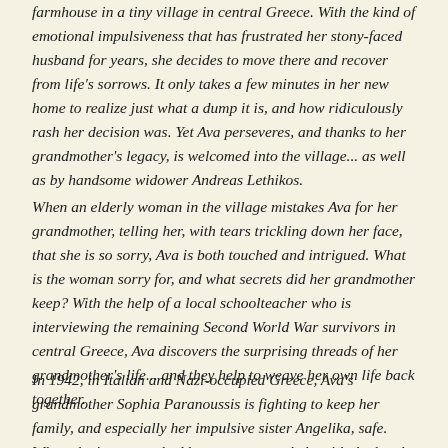farmhouse in a tiny village in central Greece. With the kind of emotional impulsiveness that has frustrated her stony-faced husband for years, she decides to move there and recover from life's sorrows. It only takes a few minutes in her new home to realize just what a dump it is, and how ridiculously rash her decision was. Yet Ava perseveres, and thanks to her grandmother's legacy, is welcomed into the village... as well as by handsome widower Andreas Lethikos.
When an elderly woman in the village mistakes Ava for her grandmother, telling her, with tears trickling down her face, that she is so sorry, Ava is both touched and intrigued. What is the woman sorry for, and what secrets did her grandmother keep? With the help of a local schoolteacher who is interviewing the remaining Second World War survivors in central Greece, Ava discovers the surprising threads of her grandmother's life... and they help to weave her own life back together.
In 1942, in Italian and Nazi-occupied Greece, Ava's grandmother Sophia Paranoussis is fighting to keep her family, and especially her impulsive sister Angelika, safe. When she is approached by a stranger to help with the local Resistance, she longs to refuse, yet